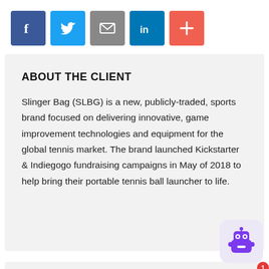[Figure (other): Social share buttons: Facebook (blue), Twitter (light blue), Email (gray), LinkedIn (dark blue), Plus/More (red-orange)]
ABOUT THE CLIENT
Slinger Bag (SLBG) is a new, publicly-traded, sports brand focused on delivering innovative, game improvement technologies and equipment for the global tennis market. The brand launched Kickstarter & Indiegogo fundraising campaigns in May of 2018 to help bring their portable tennis ball launcher to life.
INDUSTRY
Windsor Mill, MD